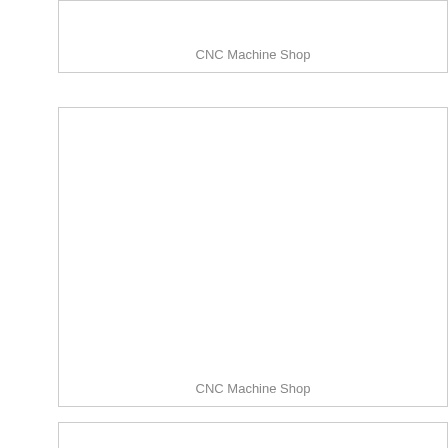[Figure (other): Top bordered box with 'CNC Machine Shop' label centered near bottom, appears to be a placeholder for a CNC machine shop image or diagram. Only top border visible, box cut off at top.]
CNC Machine Shop
[Figure (other): Large bordered rectangle placeholder for CNC Machine Shop image or diagram with 'CNC Machine Shop' label centered near bottom.]
CNC Machine Shop
[Figure (other): Bottom bordered rectangle placeholder, partially visible, cut off at bottom of page.]